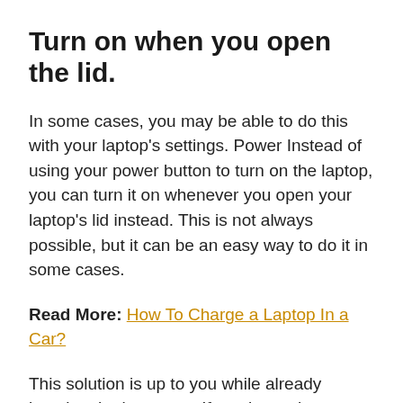Turn on when you open the lid.
In some cases, you may be able to do this with your laptop’s settings. Power Instead of using your power button to turn on the laptop, you can turn it on whenever you open your laptop’s lid instead. This is not always possible, but it can be an easy way to do it in some cases.
Read More: How To Charge a Laptop In a Car?
This solution is up to you while already keeping the laptop on. If you know that your power button is broken, but your laptop is